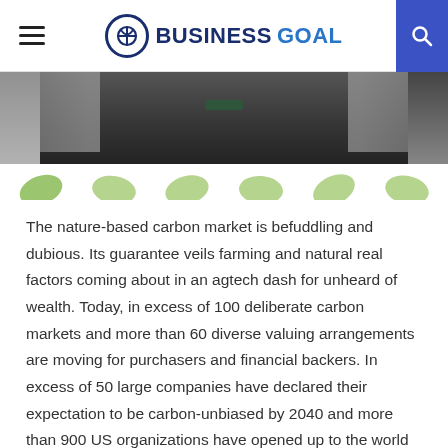BUSINESS GOAL
[Figure (photo): Partial photo of a woman with long hair wearing a black outfit with a necklace, with leaf graphics along the bottom]
The nature-based carbon market is befuddling and dubious. Its guarantee veils farming and natural real factors coming about in an agtech dash for unheard of wealth. Today, in excess of 100 deliberate carbon markets and more than 60 diverse valuing arrangements are moving for purchasers and financial backers. In excess of 50 large companies have declared their expectation to be carbon-unbiased by 2040 and more than 900 US organizations have opened up to the world about one sort of environment or carbon project responsibility. The decrees are noteworthy, yet how might partnerships accomplish their objectives?